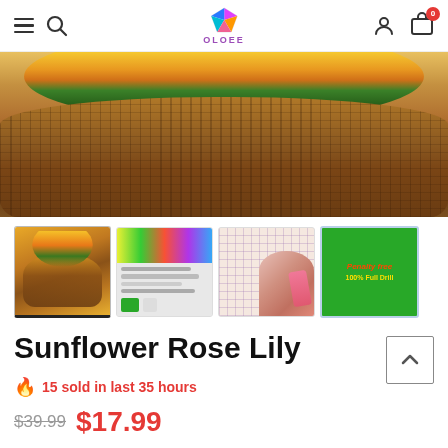OLOEE navigation bar with hamburger, search, logo, user, cart icons
[Figure (photo): Close-up photo of a wicker basket filled with sunflowers, roses, and lilies on a wooden surface]
[Figure (photo): Thumbnail 1: Sunflower and rose arrangement in basket]
[Figure (photo): Thumbnail 2: Product packaging box with colorful design]
[Figure (photo): Thumbnail 3: Diamond painting close-up with hand placing diamond]
[Figure (photo): Thumbnail 4: Green square badge reading Penalty Free 100% Full Drill]
Sunflower Rose Lily
15 sold in last 35 hours
$39.99  $17.99